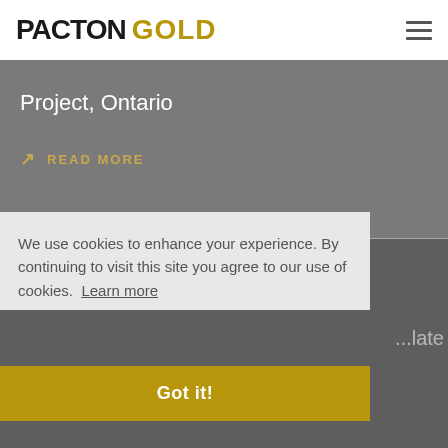PACTON GOLD
Project, Ontario
READ MORE
05.17.2022
...late...
with Red Lake First Nations
READ MORE
We use cookies to enhance your experience. By continuing to visit this site you agree to our use of cookies. Learn more
Got it!